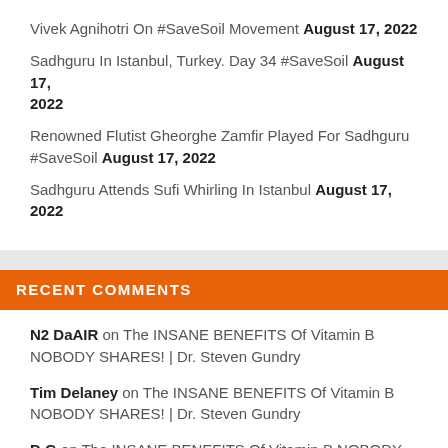Vivek Agnihotri On #SaveSoil Movement August 17, 2022
Sadhguru In Istanbul, Turkey. Day 34 #SaveSoil August 17, 2022
Renowned Flutist Gheorghe Zamfir Played For Sadhguru #SaveSoil August 17, 2022
Sadhguru Attends Sufi Whirling In Istanbul August 17, 2022
RECENT COMMENTS
N2 DaAIR on The INSANE BENEFITS Of Vitamin B NOBODY SHARES! | Dr. Steven Gundry
Tim Delaney on The INSANE BENEFITS Of Vitamin B NOBODY SHARES! | Dr. Steven Gundry
D G on The INSANE BENEFITS Of Vitamin B NOBODY